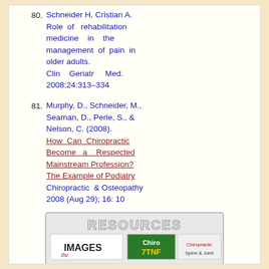80. Schneider H, Cristian A. Role of rehabilitation medicine in the management of pain in older adults. Clin Geriatr Med. 2008;24:313–334
81. Murphy, D., Schneider, M., Seaman, D., Perle, S., & Nelson, C. (2008). How Can Chiropractic Become a Respected Mainstream Profession? The Example of Podiatry Chiropractic & Osteopathy 2008 (Aug 29); 16: 10
[Figure (logo): RESOURCES banner with IMAGES, Chiro, 7TNF, Chiropractic logos/images collage]